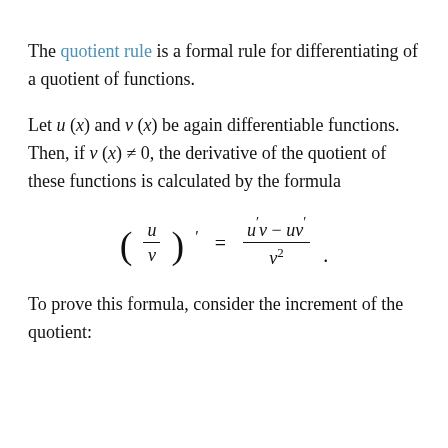The quotient rule is a formal rule for differentiating of a quotient of functions.
Let u (x) and v (x) be again differentiable functions. Then, if v (x) ≠ 0, the derivative of the quotient of these functions is calculated by the formula
To prove this formula, consider the increment of the quotient: